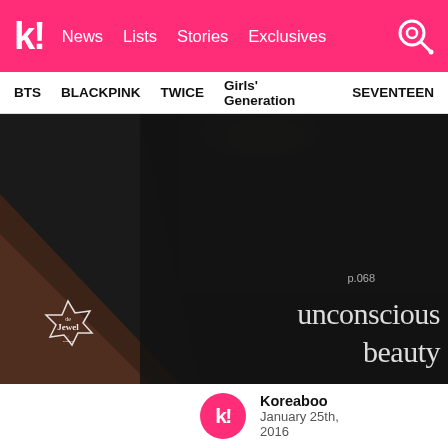k! News  Lists  Stories  Exclusives
BTS  BLACKPINK  TWICE  Girls' Generation  SEVENTEEN
[Figure (photo): Dark close-up editorial photo of a person wearing dark clothing. Text overlay reads 'p.068' and 'unconscious beauty'. Lower left has a 'de Jewel' emblem logo.]
Koreaboo
January 25th, 2016